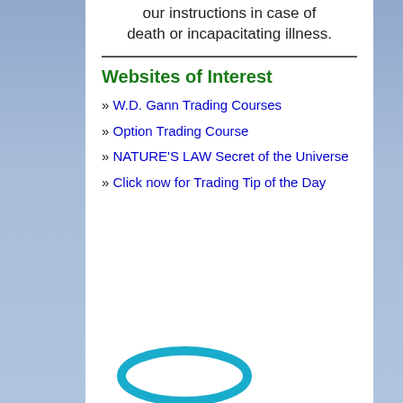our instructions in case of death or incapacitating illness.
Websites of Interest
» W.D. Gann Trading Courses
» Option Trading Course
» NATURE'S LAW Secret of the Universe
» Click now for Trading Tip of the Day
[Figure (illustration): Teal/cyan colored ring or oval shape at the bottom of the page]